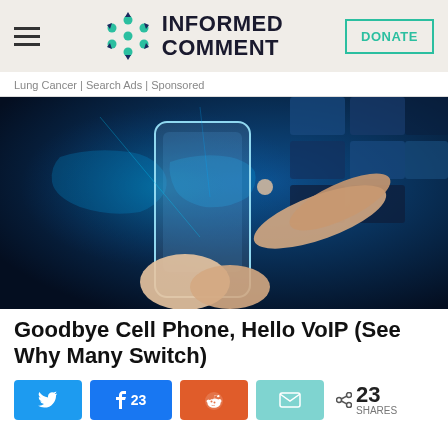INFORMED COMMENT
Lung Cancer | Search Ads | Sponsored
[Figure (photo): Hands holding a transparent smartphone with glowing blue digital world map interface in the background]
Goodbye Cell Phone, Hello VoIP (See Why Many Switch)
< 23 SHARES | Twitter share | Facebook share 23 | Reddit share | Email share